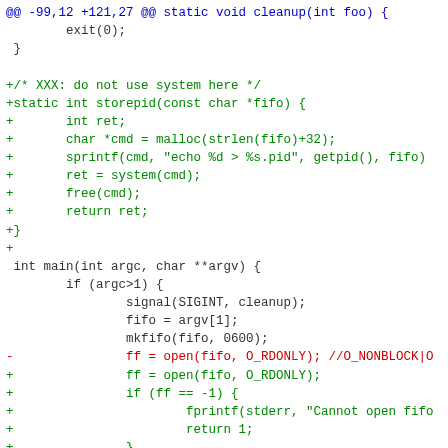[Figure (screenshot): A unified diff / code patch showing a C source file modification. Blue line is the diff hunk header, green lines are additions (prefixed with +), red line is a deletion (prefixed with -), and uncolored lines are context lines.]